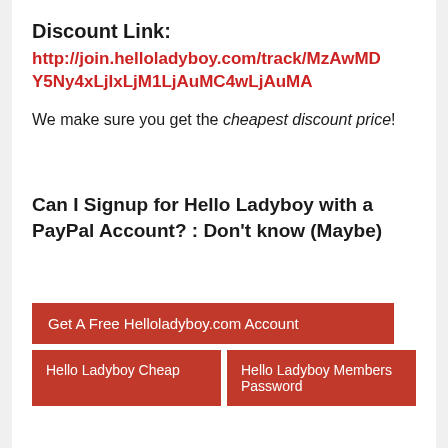Discount Link:
http://join.helloladyboy.com/track/MzAwMDY5Ny4xLjIxLjM1LjAuMC4wLjAuMA
We make sure you get the cheapest discount price!
Can I Signup for Hello Ladyboy with a PayPal Account? : Don't know (Maybe)
Get A Free Helloladyboy.com Account
Hello Ladyboy Cheap
Hello Ladyboy Members Password